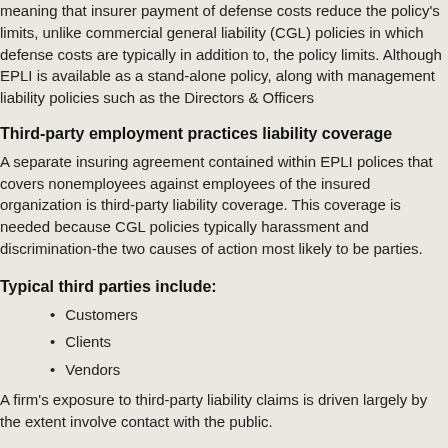meaning that insurer payment of defense costs reduce the policy's limits, unlike commercial general liability (CGL) policies in which defense costs are typically in addition to, the policy limits. Although EPLI is available as a stand-alone policy, along with management liability policies such as the Directors & Officers
Third-party employment practices liability coverage
A separate insuring agreement contained within EPLI polices that covers nonemployees against employees of the insured organization is third-party liability coverage. This coverage is needed because CGL policies typically harassment and discrimination-the two causes of action most likely to be parties.
Typical third parties include:
Customers
Clients
Vendors
A firm's exposure to third-party liability claims is driven largely by the extent involve contact with the public.
We hope you have found this blog educational. At the Armstrong Timesh